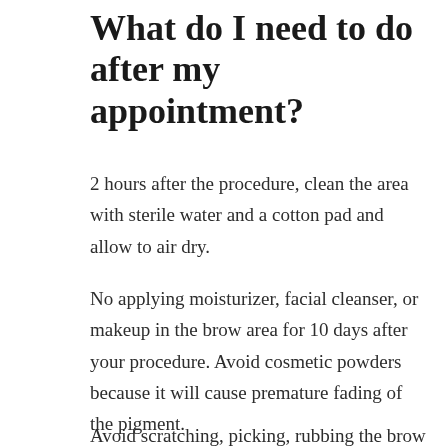What do I need to do after my appointment?
2 hours after the procedure, clean the area with sterile water and a cotton pad and allow to air dry.
No applying moisturizer, facial cleanser, or makeup in the brow area for 10 days after your procedure. Avoid cosmetic powders because it will cause premature fading of the pigment.
Avoid scratching, picking, rubbing the brow